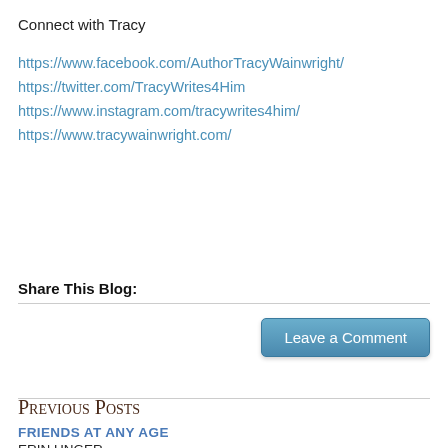Connect with Tracy
https://www.facebook.com/AuthorTracyWainwright/
https://twitter.com/TracyWrites4Him
https://www.instagram.com/tracywrites4him/
https://www.tracywainwright.com/
Share This Blog:
Leave a Comment
Previous Posts
FRIENDS AT ANY AGE
ERIN UNGER